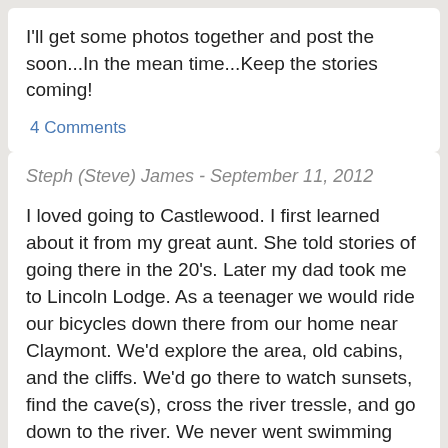I'll get some photos together and post the soon...In the mean time...Keep the stories coming!
4 Comments
Steph (Steve) James - September 11, 2012
I loved going to Castlewood. I first learned about it from my great aunt. She told stories of going there in the 20's. Later my dad took me to Lincoln Lodge. As a teenager we would ride our bicycles down there from our home near Claymont. We'd explore the area, old cabins, and the cliffs. We'd go there to watch sunsets, find the cave(s), cross the river tressle, and go down to the river. We never went swimming there as our parents had warned how dangerous the river is. I had a few friends that lived there and remember going to the Wolf. My young brother was baptised at the old Holy Infant. church. I wonder what ever happened to Kim Cole that lived near there. Had